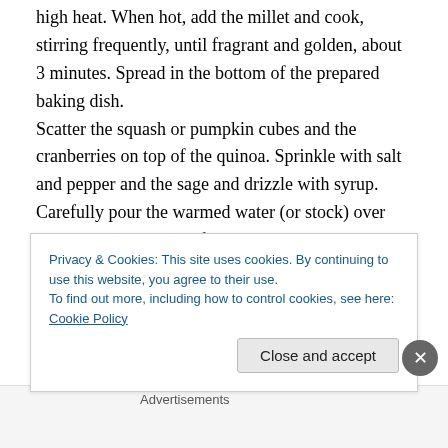high heat. When hot, add the millet and cook, stirring frequently, until fragrant and golden, about 3 minutes. Spread in the bottom of the prepared baking dish.
Scatter the squash or pumpkin cubes and the cranberries on top of the quinoa. Sprinkle with salt and pepper and the sage and drizzle with syrup. Carefully pour the warmed water (or stock) over all. Cover tightly with foil and bake without disturbing, for 45 minutes. (Don't forget to cover! I
Privacy & Cookies: This site uses cookies. By continuing to use this website, you agree to their use.
To find out more, including how to control cookies, see here: Cookie Policy
Close and accept
Advertisements